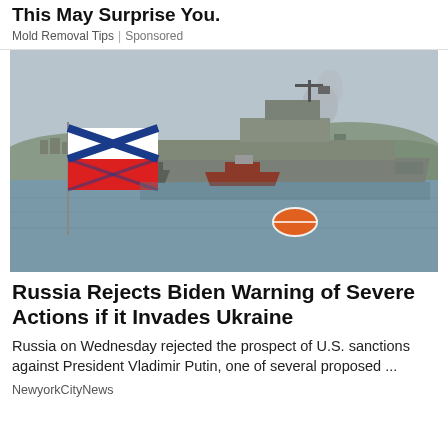This May Surprise You.
Mold Removal Tips | Sponsored
[Figure (photo): Russian naval warship in a harbor with a tugboat, Russian naval flag in the foreground, hills and buildings visible in the background under overcast skies.]
Russia Rejects Biden Warning of Severe Actions if it Invades Ukraine
Russia on Wednesday rejected the prospect of U.S. sanctions against President Vladimir Putin, one of several proposed ...
NewyorkCityNews